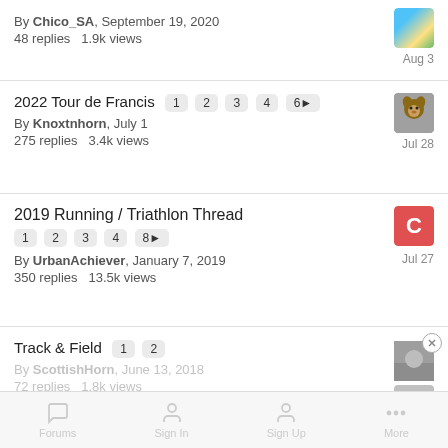By Chico_SA, September 19, 2020 — Aug 3 — 48 replies  1.9k views
2022 Tour de Francis  1 2 3 4 6▶ — Jul 28 — By Knoxtnhorn, July 1 — 275 replies  3.4k views
2019 Running / Triathlon Thread  1 2 3 4 8▶ — Jul 27 — By UrbanAchiever, January 7, 2019 — 350 replies  13.5k views
Track & Field  1 2 — By ScottishHorn, June 13, 2018 — 72 replies  1.8k views
Forums  Sign In  Sign Up  More